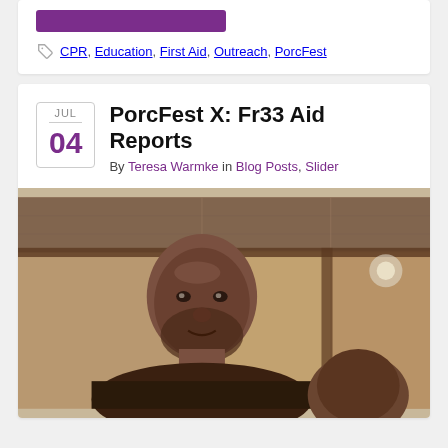CPR, Education, First Aid, Outreach, PorcFest
PorcFest X: Fr33 Aid Reports
By Teresa Warmke in Blog Posts, Slider
[Figure (photo): Photo of two people inside a wooden structure, a man in the foreground and another person partially visible in the lower right]